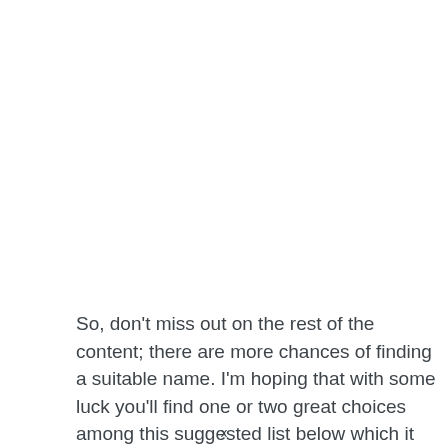So, don't miss out on the rest of the content; there are more chances of finding a suitable name. I'm hoping that with some luck you'll find one or two great choices among this suggested list below which it comes to be useful. Good luck with
x